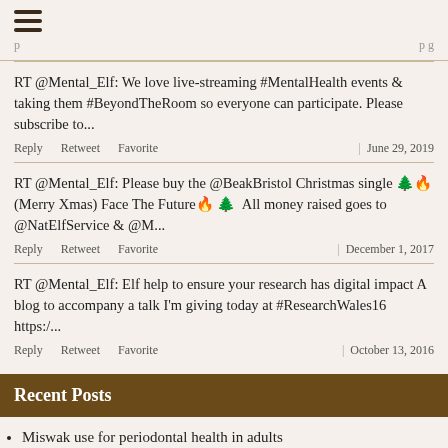≡ (hamburger menu)
(partial top row cut off)
RT @Mental_Elf: We love live-streaming #MentalHealth events & taking them #BeyondTheRoom so everyone can participate. Please subscribe to...
Reply   Retweet   Favorite   | June 29, 2019
RT @Mental_Elf: Please buy the @BeakBristol Christmas single 🎄🔥(Merry Xmas) Face The Future🔥 🎄  All money raised goes to @NatElfService & @M...
Reply   Retweet   Favorite   | December 1, 2017
RT @Mental_Elf: Elf help to ensure your research has digital impact A blog to accompany a talk I'm giving today at #ResearchWales16 https:/...
Reply   Retweet   Favorite   | October 13, 2016
Recent Posts
Miswak use for periodontal health in adults